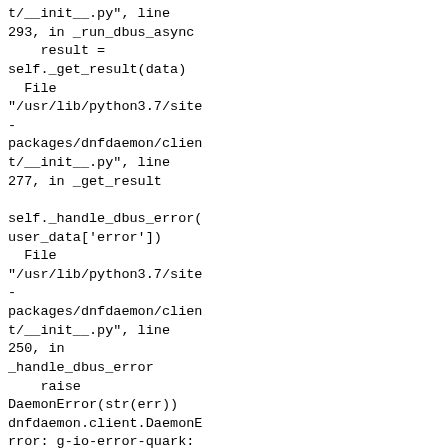t/__init__.py", line 293, in _run_dbus_async
    result = self._get_result(data)
  File "/usr/lib/python3.7/site-packages/dnfdaemon/client/__init__.py", line 277, in _get_result

self._handle_dbus_error(user_data['error'])
  File "/usr/lib/python3.7/site-packages/dnfdaemon/client/__init__.py", line 250, in _handle_dbus_error
    raise DaemonError(str(err))
dnfdaemon.client.DaemonError: g-io-error-quark: GDBus.Error:org.baseurl.DnfSystem.LockedError: dnf is locked by another application (36)

which means that,